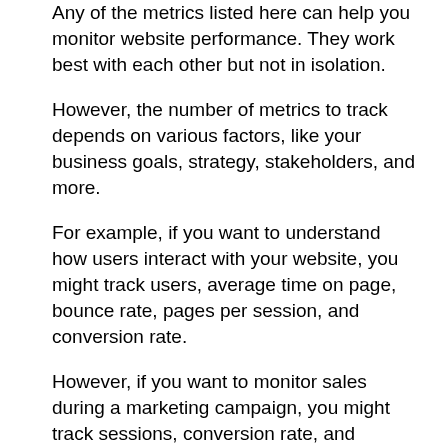Any of the metrics listed here can help you monitor website performance. They work best with each other but not in isolation.
However, the number of metrics to track depends on various factors, like your business goals, strategy, stakeholders, and more.
For example, if you want to understand how users interact with your website, you might track users, average time on page, bounce rate, pages per session, and conversion rate.
However, if you want to monitor sales during a marketing campaign, you might track sessions, conversion rate, and revenue.
Here is a breakdown of which metrics are most useful for acquisition, behavior, and conversion.
Acquisition